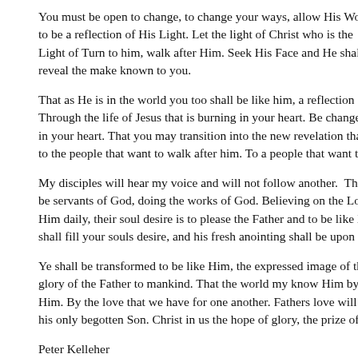You must be open to change, to change your ways, allow His Word to be a reflection of His Light. Let the light of Christ who is the Light of Turn to him, walk after Him. Seek His Face and He shall reveal the make known to you.
That as He is in the world you too shall be like him, a reflection of Through the life of Jesus that is burning in your heart. Be changed, in your heart. That you may transition into the new revelation that t to the people that want to walk after him. To a people that want to l
My disciples will hear my voice and will not follow another. They be servants of God, doing the works of God. Believing on the Lord Him daily, their soul desire is to please the Father and to be like Hi shall fill your souls desire, and his fresh anointing shall be upon the
Ye shall be transformed to be like Him, the expressed image of the glory of the Father to mankind. That the world my know Him by o Him. By the love that we have for one another. Fathers love will be his only begotten Son. Christ in us the hope of glory, the prize of et
Peter Kelleher
631-834-4796
Please feel free to comment and to contact me if you would like to